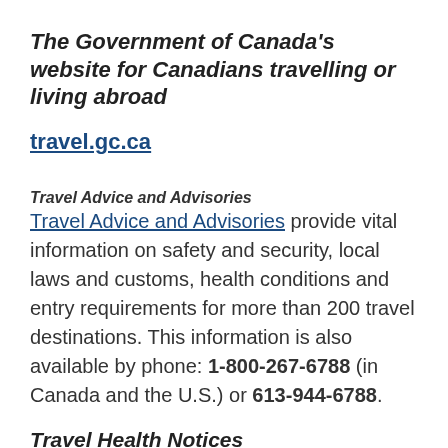The Government of Canada's website for Canadians travelling or living abroad
travel.gc.ca
Travel Advice and Advisories
Travel Advice and Advisories provide vital information on safety and security, local laws and customs, health conditions and entry requirements for more than 200 travel destinations. This information is also available by phone: 1-800-267-6788 (in Canada and the U.S.) or 613-944-6788.
Travel Health Notices